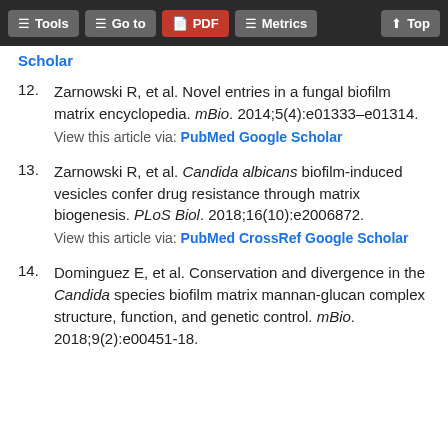Tools  Go to  PDF  Metrics  Top
Scholar
12. Zarnowski R, et al. Novel entries in a fungal biofilm matrix encyclopedia. mBio. 2014;5(4):e01333–e01314.
View this article via: PubMed Google Scholar
13. Zarnowski R, et al. Candida albicans biofilm-induced vesicles confer drug resistance through matrix biogenesis. PLoS Biol. 2018;16(10):e2006872.
View this article via: PubMed CrossRef Google Scholar
14. Dominguez E, et al. Conservation and divergence in the Candida species biofilm matrix mannan-glucan complex structure, function, and genetic control. mBio. 2018;9(2):e00451-18.